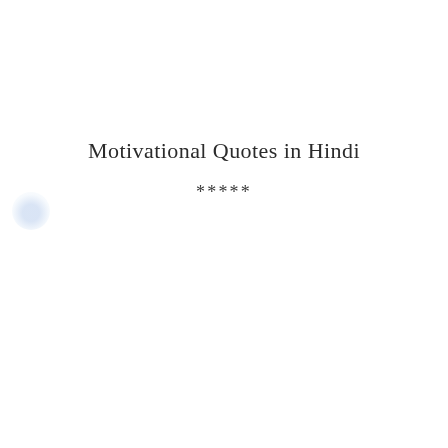Motivational Quotes in Hindi
*****